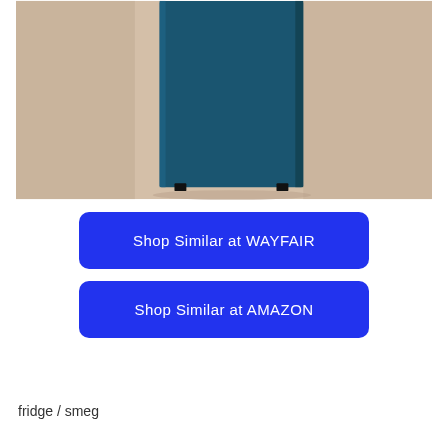[Figure (photo): Cropped photo of a teal/dark blue Smeg refrigerator against a beige/tan background, showing the lower portion of the appliance with small black feet visible at the base.]
Shop Similar at WAYFAIR
Shop Similar at AMAZON
fridge / smeg